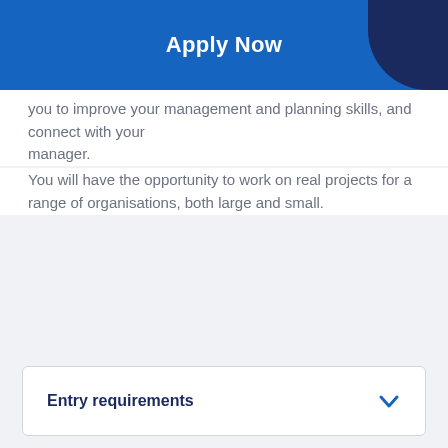Apply Now
you to improve your management and planning skills, and connect with your manager.
You will have the opportunity to work on real projects for a range of organisations, both large and small.
Entry requirements